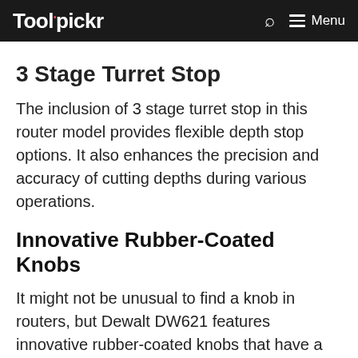Toolpickr  🔍  ≡ Menu
3 Stage Turret Stop
The inclusion of 3 stage turret stop in this router model provides flexible depth stop options. It also enhances the precision and accuracy of cutting depths during various operations.
Innovative Rubber-Coated Knobs
It might not be unusual to find a knob in routers, but Dewalt DW621 features innovative rubber-coated knobs that have a plunge-lock to ensure user control.